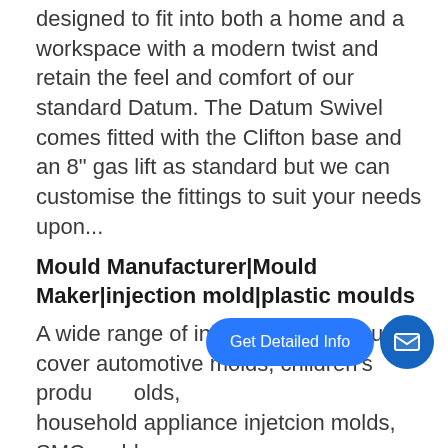designed to fit into both a home and a workspace with a modern twist and retain the feel and comfort of our standard Datum. The Datum Swivel comes fitted with the Clifton base and an 8" gas lift as standard but we can customise the fittings to suit your needs upon...
Mould Manufacturer|Mould Maker|injection mold|plastic moulds
A wide range of injection mold products cover automotive molds, children's product molds, household appliance injetcion molds, SMC molds. We provide products and services to more than 30 countries and regions around the world, including Europe and the United States and so on.
Baby - IKEA
Baby. Your home and nursery furniture should help